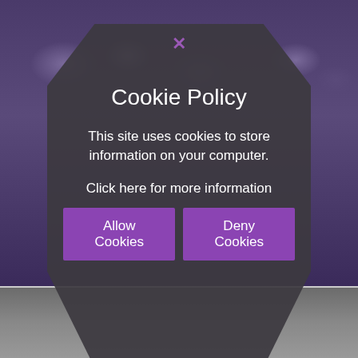[Figure (screenshot): A webpage screenshot showing a cookie policy modal dialog overlaid on a photo of a crowd of people wearing purple shirts. The modal has a dark hexagonal shape with a purple X close button at the top, a 'Cookie Policy' title, descriptive text, a 'Click here for more information' link, and two purple buttons: 'Allow Cookies' and 'Deny Cookies'. Below the main photo area is a thin divider and a second photo area partially visible.]
Cookie Policy
This site uses cookies to store information on your computer.
Click here for more information
Allow Cookies
Deny Cookies